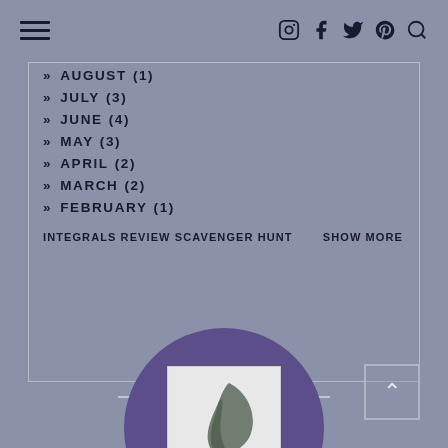Navigation header with hamburger menu and social icons
» AUGUST (1)
» JULY (3)
» JUNE (4)
» MAY (3)
» APRIL (2)
» MARCH (2)
» FEBRUARY (1)
INTEGRALS REVIEW SCAVENGER HUNT
SHOW MORE
MY MISSION
[Figure (photo): Purple circle with an image of a 3D rendered object inside a white box]